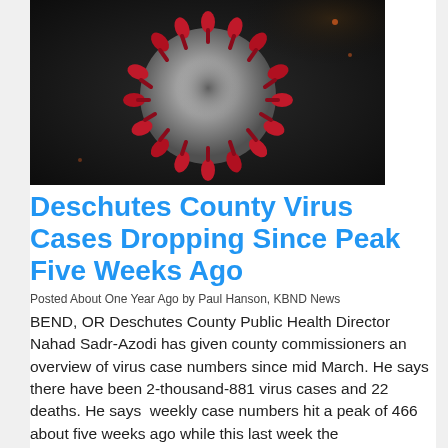[Figure (photo): Microscopic image of a coronavirus particle — grey sphere with red spike proteins on a dark background]
Deschutes County Virus Cases Dropping Since Peak Five Weeks Ago
Posted About One Year Ago by Paul Hanson, KBND News
BEND, OR Deschutes County Public Health Director Nahad Sadr-Azodi has given county commissioners an overview of virus case numbers since mid March. He says there have been 2-thousand-881 virus cases and 22 deaths. He says  weekly case numbers hit a peak of 466 about five weeks ago while this last week the